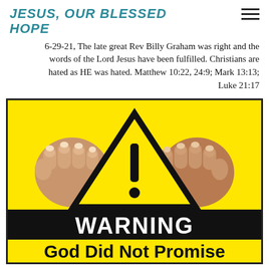JESUS, OUR BLESSED HOPE
6-29-21, The late great Rev Billy Graham was right and the words of the Lord Jesus have been fulfilled. Christians are hated as HE was hated. Matthew 10:22, 24:9; Mark 13:13; Luke 21:17
[Figure (illustration): Yellow warning sign with black border showing two pointing fists on left and right sides, a black triangle warning symbol with exclamation mark in center, a black banner with white text reading WARNING, and large black bold text reading God Did Not Promise]